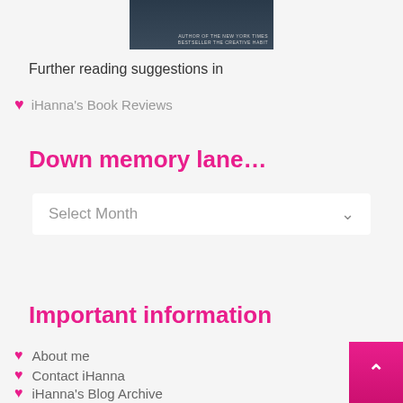[Figure (photo): Partial book cover image with dark blue/navy background and small white text]
Further reading suggestions in
iHanna's Book Reviews
Down memory lane…
Select Month
Important information
About me
Contact iHanna
iHanna's Blog Archive
iHanna's Blog RSS